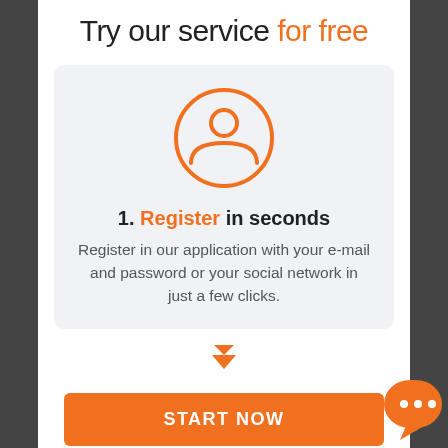Try our service for free
[Figure (illustration): Orange user/person icon inside an orange circle outline]
1. Register in seconds
Register in our application with your e-mail and password or your social network in just a few clicks.
[Figure (illustration): Two stacked orange downward-pointing chevron/arrow indicators]
START NOW
[Figure (illustration): Orange chat bubble with three dots (ellipsis) in bottom right corner]